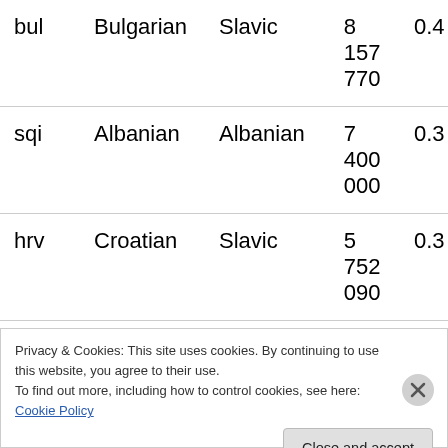|  | Language | Family | Speakers | % |
| --- | --- | --- | --- | --- |
| bul | Bulgarian | Slavic | 8 157 770 | 0.4 |
| sqi | Albanian | Albanian | 7 400 000 | 0.3 |
| hrv | Croatian | Slavic | 5 752 090 | 0.3 |
| dan | Danish | Germanic | 5 522 490 | 0.3 |
Privacy & Cookies: This site uses cookies. By continuing to use this website, you agree to their use.
To find out more, including how to control cookies, see here: Cookie Policy